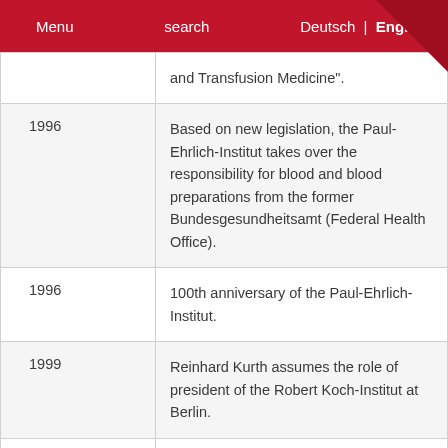Menu   search   Deutsch | English
| Year | Event |
| --- | --- |
|  | and Transfusion Medicine". |
| 1996 | Based on new legislation, the Paul-Ehrlich-Institut takes over the responsibility for blood and blood preparations from the former Bundesgesundheitsamt (Federal Health Office). |
| 1996 | 100th anniversary of the Paul-Ehrlich-Institut. |
| 1999 | Reinhard Kurth assumes the role of president of the Robert Koch-Institut at Berlin. |
| 2000 | The German Council of Science and Humanities (Wissenschaftsrat) attests the Paul-Ehrlich-Institut's outstanding positon in the field of |